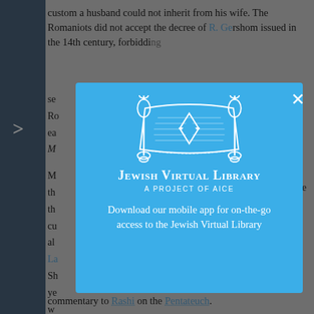custom a husband could not inherit from his wife. The Romaniots did not accept the decree of R. Ge...
[Figure (screenshot): Jewish Virtual Library modal popup overlay on a webpage. The modal has a bright blue background (#3baee8), displays the Jewish Virtual Library logo (Torah scroll with Star of David), the title 'Jewish Virtual Library', subtitle 'A Project of AICE', and the text 'Download our mobile app for on-the-go access to the Jewish Virtual Library'. A close (X) button is in the top-right corner.]
commentary to Rashi on the Pentateuch.